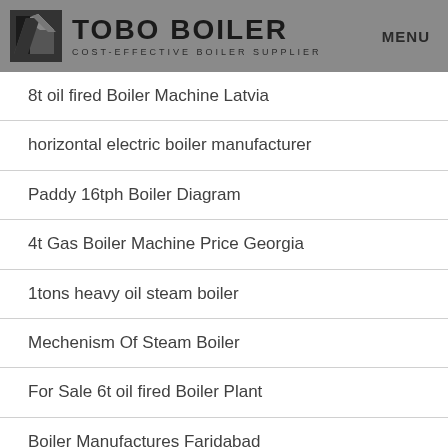TOBO BOILER — COST-EFFECTIVE BOILER SUPPLIER — MENU
8t oil fired Boiler Machine Latvia
horizontal electric boiler manufacturer
Paddy 16tph Boiler Diagram
4t Gas Boiler Machine Price Georgia
1tons heavy oil steam boiler
Mechenism Of Steam Boiler
For Sale 6t oil fired Boiler Plant
Boiler Manufactures Faridabad